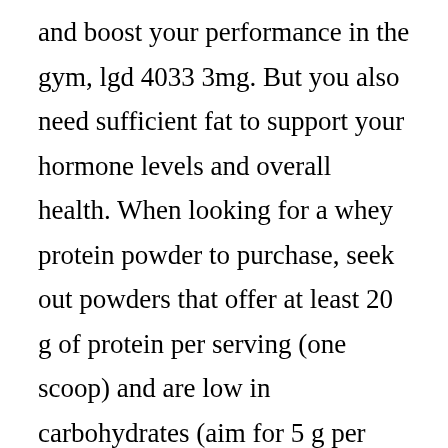and boost your performance in the gym, lgd 4033 3mg. But you also need sufficient fat to support your hormone levels and overall health. When looking for a whey protein powder to purchase, seek out powders that offer at least 20 g of protein per serving (one scoop) and are low in carbohydrates (aim for 5 g per serving or less). You may run into whey protein isolate, which looks attractive because it’s a higher concentration of protein, lgd 4033 3mg. A stack is a few products that